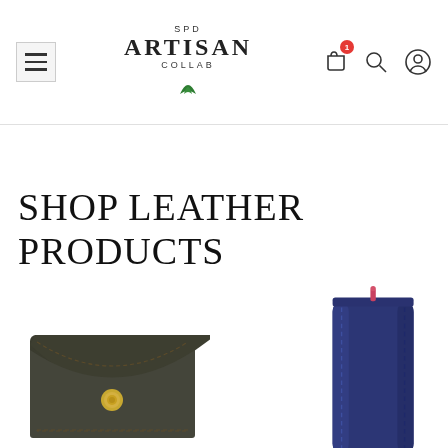SPD ARTISAN COLLAB — navigation bar with hamburger menu, logo, cart (1), search, and user icons
SHOP LEATHER PRODUCTS
[Figure (photo): Dark olive green leather card wallet with gold snap button closure and stitching detail, photographed on white background]
[Figure (photo): Navy blue leather glasses case / slim pouch with pink zipper pull, photographed on white background]